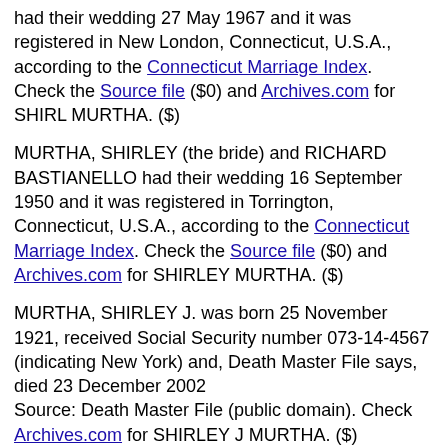had their wedding 27 May 1967 and it was registered in New London, Connecticut, U.S.A., according to the Connecticut Marriage Index. Check the Source file ($0) and Archives.com for SHIRL MURTHA. ($)
MURTHA, SHIRLEY (the bride) and RICHARD BASTIANELLO had their wedding 16 September 1950 and it was registered in Torrington, Connecticut, U.S.A., according to the Connecticut Marriage Index. Check the Source file ($0) and Archives.com for SHIRLEY MURTHA. ($)
MURTHA, SHIRLEY J. was born 25 November 1921, received Social Security number 073-14-4567 (indicating New York) and, Death Master File says, died 23 December 2002 Source: Death Master File (public domain). Check Archives.com for SHIRLEY J MURTHA. ($)
MURTHA, SILVIA was born 20 August 1961, received